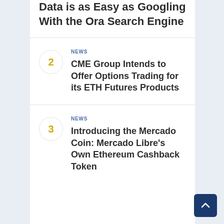Data is as Easy as Googling With the Ora Search Engine
2 NEWS CME Group Intends to Offer Options Trading for its ETH Futures Products
3 NEWS Introducing the Mercado Coin: Mercado Libre's Own Ethereum Cashback Token